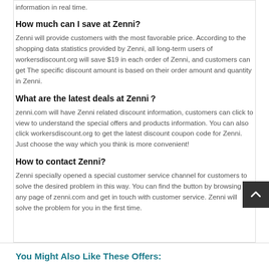information in real time.
How much can I save at Zenni?
Zenni will provide customers with the most favorable price. According to the shopping data statistics provided by Zenni, all long-term users of workersdiscount.org will save $19 in each order of Zenni, and customers can get The specific discount amount is based on their order amount and quantity in Zenni.
What are the latest deals at Zenni？
zenni.com will have Zenni related discount information, customers can click to view to understand the special offers and products information. You can also click workersdiscount.org to get the latest discount coupon code for Zenni. Just choose the way which you think is more convenient!
How to contact Zenni?
Zenni specially opened a special customer service channel for customers to solve the desired problem in this way. You can find the button by browsing any page of zenni.com and get in touch with customer service. Zenni will solve the problem for you in the first time.
You Might Also Like These Offers: